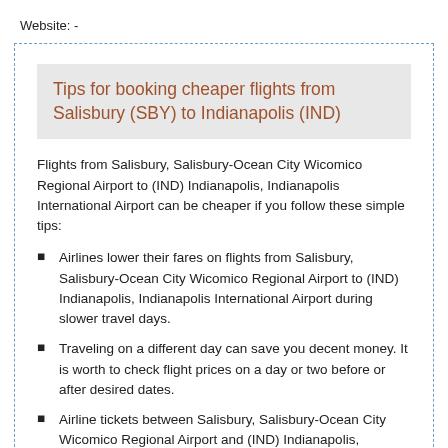Website: -
Tips for booking cheaper flights from Salisbury (SBY) to Indianapolis (IND)
Flights from Salisbury, Salisbury-Ocean City Wicomico Regional Airport to (IND) Indianapolis, Indianapolis International Airport can be cheaper if you follow these simple tips:
Airlines lower their fares on flights from Salisbury, Salisbury-Ocean City Wicomico Regional Airport to (IND) Indianapolis, Indianapolis International Airport during slower travel days.
Traveling on a different day can save you decent money. It is worth to check flight prices on a day or two before or after desired dates.
Airline tickets between Salisbury, Salisbury-Ocean City Wicomico Regional Airport and (IND) Indianapolis, Indianapolis International Airport are cheaper on Tuesday,